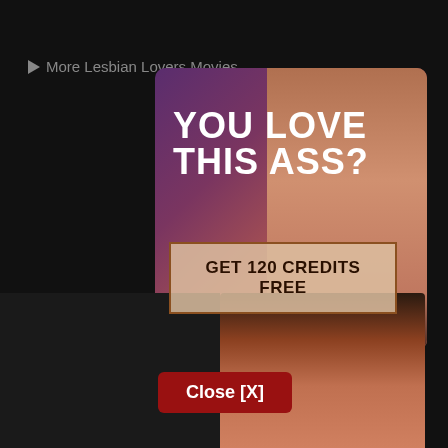More Lesbian Lovers Movies
[Figure (photo): Adult content advertisement popup showing bold text 'YOU LOVE THIS ASS?' with a button 'GET 120 CREDITS FREE' and a stylized figure on a purple-to-peach gradient background]
Close [X]